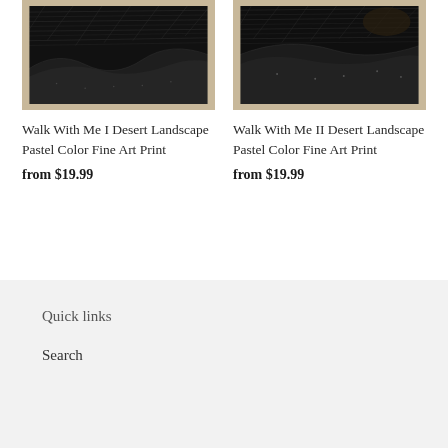[Figure (photo): Walk With Me I Desert Landscape Pastel Color Fine Art Print - dark textured engraving-style landscape art print with beige/stone border frame]
Walk With Me I Desert Landscape Pastel Color Fine Art Print
from $19.99
[Figure (photo): Walk With Me II Desert Landscape Pastel Color Fine Art Print - dark textured engraving-style landscape art print with beige/stone border frame]
Walk With Me II Desert Landscape Pastel Color Fine Art Print
from $19.99
Quick links
Search